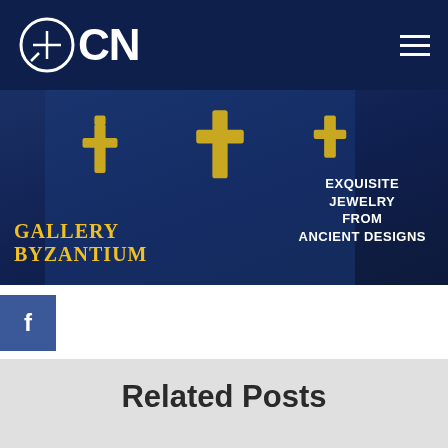OCN
[Figure (photo): Gallery Byzantium advertisement banner showing golden crosses on blue background with text: GALLERY BYZANTIUM - Exquisite Jewelry From Ancient Designs]
[Figure (logo): Facebook share button - blue square with white 'f']
Related Posts
This website uses cookies to improve your experience. To continue click on the 'Accept' button or 'View' our privacy policy.
Accept   View Policy